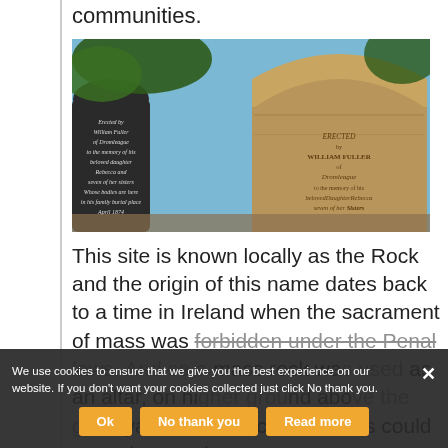communities.
[Figure (photo): Photo of two old gravestones in a cemetery. The left stone reads: 'Erected by William Fuller of Dromleague to the memory of his beloved daughter Rebecca and seven of her sisters Whose bodies are here in his family burial place April 1874'. The right stone is a tall Gothic-arch headstone with similar text engraved.]
This site is known locally as the Rock and the origin of this name dates back to a time in Ireland when the sacrament of mass was forbidden under the Penal laws. And so a mass rock was used as an altar, on higher ground above the graveyard, where local Catholics could secretly attend
We use cookies to ensure that we give you the best experience on our website. If you don't want your cookies collected just click No thank you.